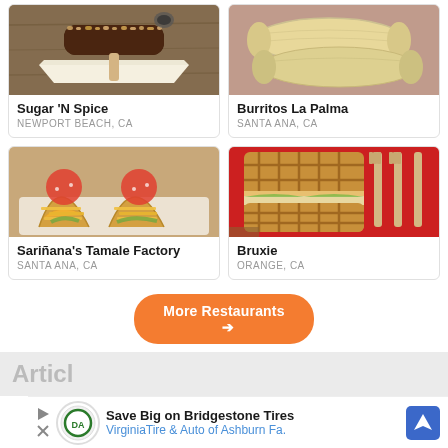[Figure (photo): Chocolate covered banana/corn dog on a stick with chopped nuts on a paper tray]
Sugar 'N Spice
NEWPORT BEACH, CA
[Figure (photo): Two burritos wrapped in flour tortillas]
Burritos La Palma
SANTA ANA, CA
[Figure (photo): Two crispy tacos with cheese, lettuce, tomato sauce and toppings]
Sariñana's Tamale Factory
SANTA ANA, CA
[Figure (photo): Waffle sandwich with filling on red background, with wooden forks]
Bruxie
ORANGE, CA
More Restaurants →
Articl
Save Big on Bridgestone Tires VirginiaTire & Auto of Ashburn Fa.